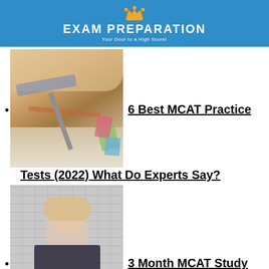[Figure (logo): Exam Preparation logo with crown icon, blue banner, text 'EXAM PREPARATION - Your Door to a High Score!']
6 Best MCAT Practice Tests (2022) What Do Experts Say?
[Figure (photo): Person writing with pencil on paper with colorful sticky notes]
3 Month MCAT Study Plan Best Schedule for Studying
[Figure (photo): Woman standing in front of white brick wall]
[Figure (photo): Partial image, third article thumbnail partially visible at bottom]